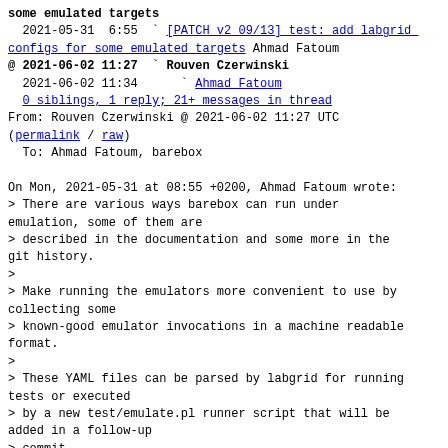some emulated targets
  2021-05-31  6:55  [PATCH v2 09/13] test: add labgrid configs for some emulated targets  Ahmad Fatoum
@ 2021-06-02 11:27  Rouven Czerwinski
  2021-06-02 11:34     Ahmad Fatoum
  0 siblings, 1 reply; 21+ messages in thread
From: Rouven Czerwinski @ 2021-06-02 11:27 UTC
(permalink / raw)
  To: Ahmad Fatoum, barebox
On Mon, 2021-05-31 at 08:55 +0200, Ahmad Fatoum wrote:
> There are various ways barebox can run under emulation, some of them are
> described in the documentation and some more in the git history.
>
> Make running the emulators more convenient to use by collecting some
> known-good emulator invocations in a machine readable format.
>
> These YAML files can be parsed by labgrid for running tests or executed
> by a new test/emulate.pl runner script that will be added in a follow-up
> commit.
>
> Using labgrid for this will allow using the same test suite for physical
> targets as well in future.